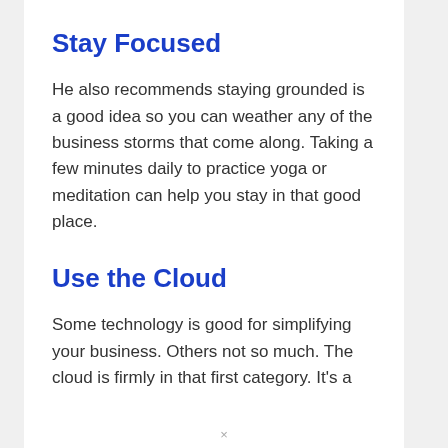Stay Focused
He also recommends staying grounded is a good idea so you can weather any of the business storms that come along. Taking a few minutes daily to practice yoga or meditation can help you stay in that good place.
Use the Cloud
Some technology is good for simplifying your business. Others not so much. The cloud is firmly in that first category. It's a